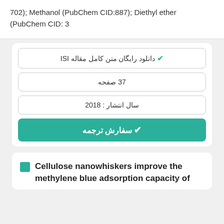702); Methanol (PubChem CID:887); Diethyl ether (PubChem CID: 3
✔ دانلود رایگان متن کامل مقاله ISI
37 صفحه
سال انتشار : 2018
✔ سفارش ترجمه
Cellulose nanowhiskers improve the methylene blue adsorption capacity of